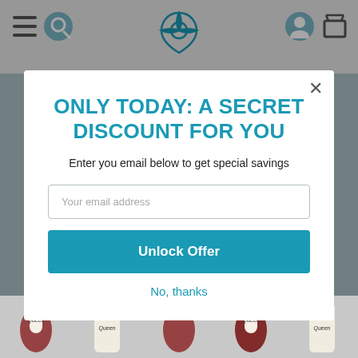[Figure (screenshot): E-commerce website background with teal logo, navigation icons, and product images]
ONLY TODAY: A SECRET DISCOUNT FOR YOU
Enter you email below to get special savings
Your email address
Unlock Offer
No, thanks